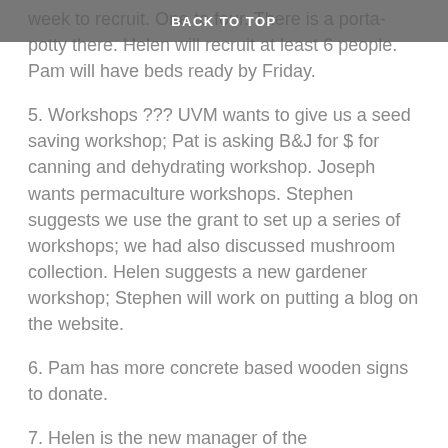BACK TO TOP
week to recruit. One to four. There is a porta-potty there. Helen will recruit at least 6 people. Pam will have beds ready by Friday.
5. Workshops ??? UVM wants to give us a seed saving workshop; Pat is asking B&J for $ for canning and dehydrating workshop. Joseph wants permaculture workshops. Stephen suggests we use the grant to set up a series of workshops; we had also discussed mushroom collection. Helen suggests a new gardener workshop; Stephen will work on putting a blog on the website.
6. Pam has more concrete based wooden signs to donate.
7. Helen is the new manager of the stamfordvt.org and we will do fundraisers.
8. Keith Bona made 2 Stamford Garden tee shirts; do we want to take orders?